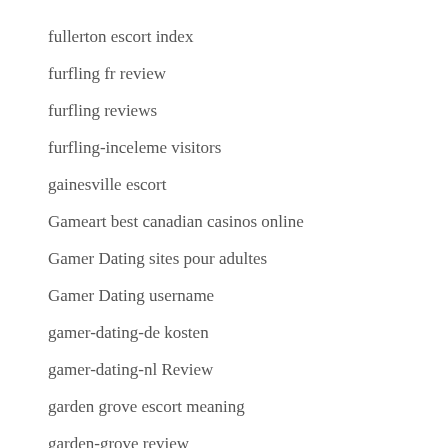fullerton escort index
furfling fr review
furfling reviews
furfling-inceleme visitors
gainesville escort
Gameart best canadian casinos online
Gamer Dating sites pour adultes
Gamer Dating username
gamer-dating-de kosten
gamer-dating-nl Review
garden grove escort meaning
garden-grove review
garland escort review
Gay Dating Apps reddit